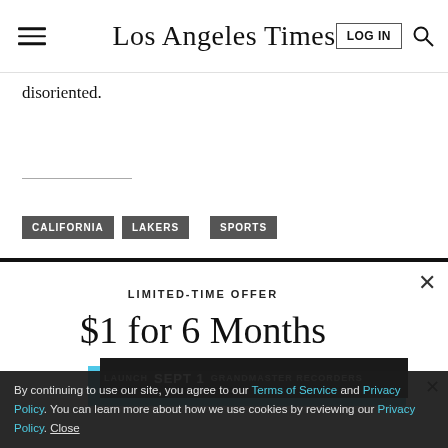Los Angeles Times
disoriented.
CALIFORNIA
LAKERS
SPORTS
LIMITED-TIME OFFER
$1 for 6 Months
SUBSCRIBE NOW
By continuing to use our site, you agree to our Terms of Service and Privacy Policy. You can learn more about how we use cookies by reviewing our Privacy Policy. Close